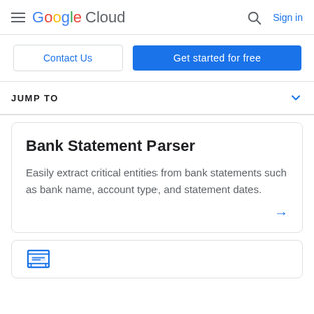Google Cloud  Sign in
Contact Us  Get started for free
JUMP TO
Bank Statement Parser
Easily extract critical entities from bank statements such as bank name, account type, and statement dates.